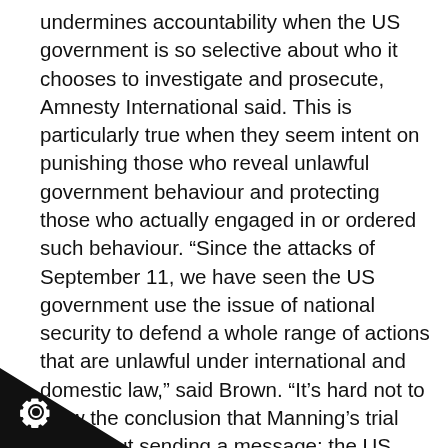undermines accountability when the US government is so selective about who it chooses to investigate and prosecute, Amnesty International said. This is particularly true when they seem intent on punishing those who reveal unlawful government behaviour and protecting those who actually engaged in or ordered such behaviour. “Since the attacks of September 11, we have seen the US government use the issue of national security to defend a whole range of actions that are unlawful under international and domestic law,” said Brown. “It’s hard not to draw the conclusion that Manning’s trial was about sending a message: the US government will come after you, no holds barred, if you’re thinking of revealing evidence of its unlawful behaviour.”
[Figure (logo): Black triangle in bottom-left corner with a gear/cog icon (Tor Project or similar) in white]